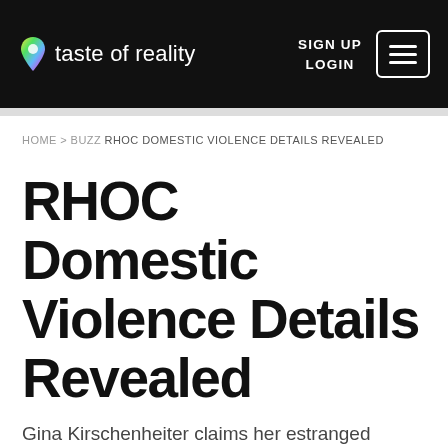taste of reality | SIGN UP LOGIN
HOME > BUZZ RHOC DOMESTIC VIOLENCE DETAILS REVEALED
RHOC Domestic Violence Details Revealed
Gina Kirschenheiter claims her estranged husband choked and hit her with their kids nearby.
Ashley Hoover Baker   June 26, 2019 2:40pm